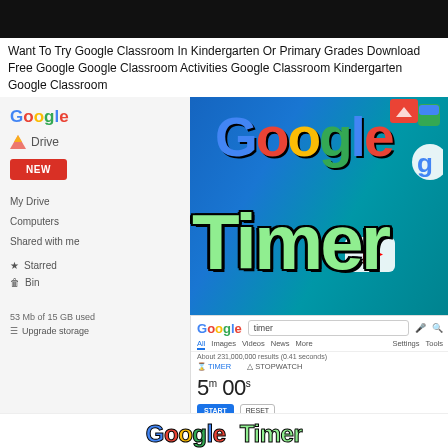[Figure (screenshot): Black banner bar at top of page]
Want To Try Google Classroom In Kindergarten Or Primary Grades Download Free Google Google Classroom Activities Google Classroom Kindergarten Google Classroom
[Figure (screenshot): Composite image showing Google Drive interface on left, Google logo with colorful 3D letters and 'Timer' text overlay in green, YouTube icon, Google search icon, and a Google search results box showing a timer set to 5m 00s with START and RESET buttons]
[Figure (screenshot): Bottom banner showing 'Google Timer' text in colorful letters with green outline styling]